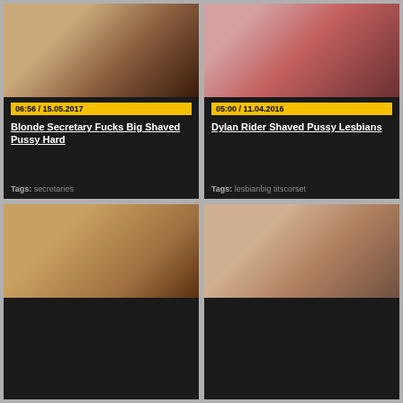[Figure (screenshot): Video thumbnail grid showing adult video website with 4 video cards in 2x2 layout]
06:56 / 15.05.2017
Blonde Secretary Fucks Big Shaved Pussy Hard
Tags: secretaries
05:00 / 11.04.2016
Dylan Rider Shaved Pussy Lesbians
Tags: lesbianbig titscorset